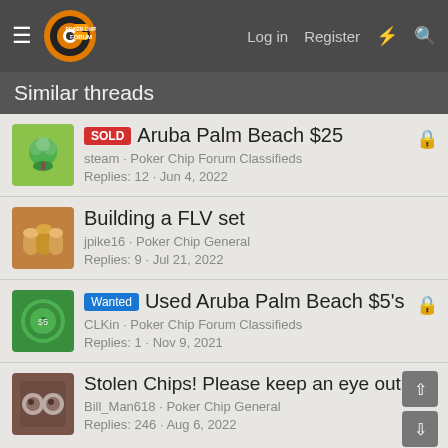Poker Chip Forum — Log in | Register
Similar threads
SOLD Aruba Palm Beach $25 — steam · Poker Chip Forum Classifieds — Replies: 12 · Jun 4, 2022
Building a FLV set — jpike16 · Poker Chip General — Replies: 9 · Jul 21, 2022
Wanted Used Aruba Palm Beach $5's — CLKin · Poker Chip Forum Classifieds — Replies: 1 · Nov 9, 2021
Stolen Chips! Please keep an eye out. — Bill_Man618 · Poker Chip General — Replies: 246 · Aug 6, 2022
SOLD Palm Beach Aruba $5's Mint